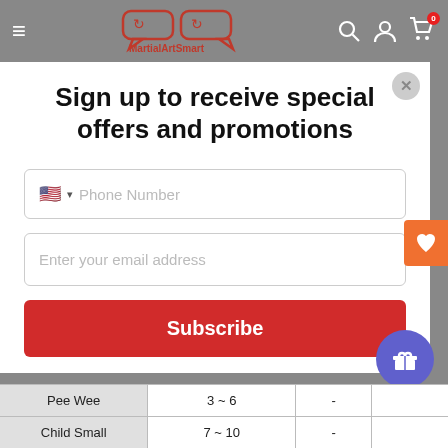[Figure (screenshot): MartialArtSmart website header with logo, hamburger menu, search, account, and cart icons on grey background]
Sign up to receive special offers and promotions
Phone Number (input field with US flag)
Enter your email address (input field)
Subscribe
|  |  |  |  |
| --- | --- | --- | --- |
| Pee Wee | 3 ~ 6 | - |  |
| Child Small | 7 ~ 10 | - |  |